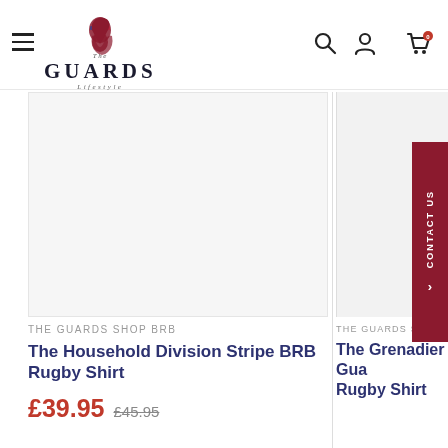The Guards Lifestyle — navigation header with hamburger menu, logo, search, account, and cart icons
THE GUARDS SHOP BRB
The Household Division Stripe BRB Rugby Shirt
£39.95  £45.95
THE GUARDS SHOP BR
The Grenadier Gua... Rugby Shirt